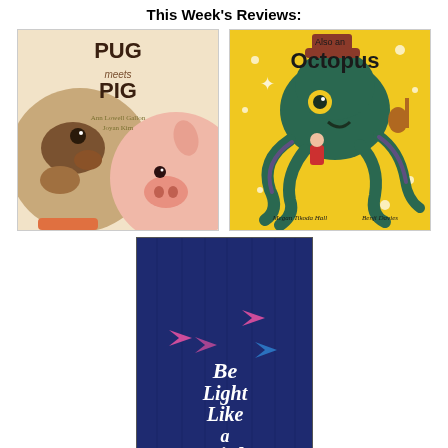This Week's Reviews:
[Figure (illustration): Book cover of 'Pug Meets Pig' showing a pug dog and a pig face-to-face, illustrated in a cute cartoon style with brown, tan and pink tones. Authors: Ann Lowell Gallon, Joyan Kim.]
[Figure (illustration): Book cover of 'Also an Octopus' with a bright yellow background featuring a large teal/green octopus wearing a hat, holding a guitar, with a small child on its tentacle. Authors: Megan Tikoda Hall, Benji Davies.]
[Figure (illustration): Book cover of 'Be Light Like a Bird' with a dark navy/blue textured background, pink and blue bird/arrow shapes, and the title in white italic script lettering. Author: Monika Schroeder.]
Check back throughout the week to read these